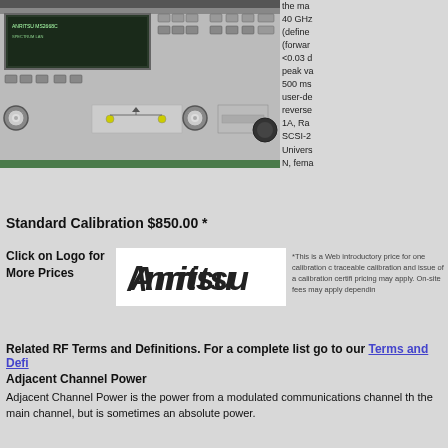[Figure (photo): Photo of an Anritsu RF test instrument/spectrum analyzer, front panel view showing screen, buttons, and RF connectors]
the ma 40 GHz (define (forwar <0.03 d peak va 500 ms user-de reverse 1A, Ra SCSI-2 Univers N, fema
Standard Calibration $850.00 *
Click on Logo for More Prices
[Figure (logo): Anritsu company logo in black italic text on white background]
*This is a Web introductory price for one calibration c traceable calibration and issue of a calibration certifi pricing may apply. On-site fees may apply dependin
Related RF Terms and Definitions. For a complete list go to our Terms and Defi
Adjacent Channel Power
Adjacent Channel Power is the power from a modulated communications channel th the main channel, but is sometimes an absolute power.